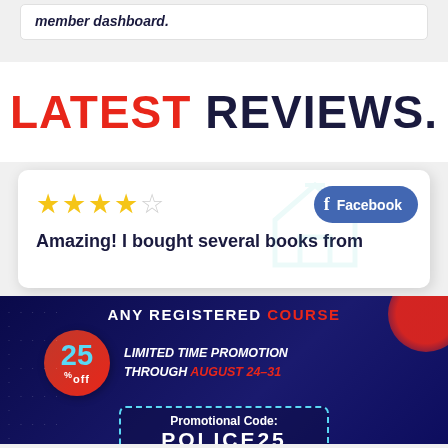member dashboard.
LATEST REVIEWS.
[Figure (other): Review card with 4 out of 5 stars, Facebook badge, and partial review text: 'Amazing! I bought several books from']
[Figure (infographic): Promotional banner: ANY REGISTERED COURSE - 25% off LIMITED TIME PROMOTION THROUGH AUGUST 24-31 - Promotional Code: POLICE25]